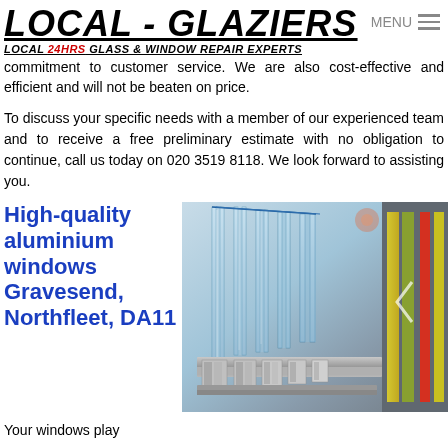LOCAL - GLAZIERS LOCAL 24HRS GLASS & WINDOW REPAIR EXPERTS
commitment to customer service. We are also cost-effective and efficient and will not be beaten on price.
To discuss your specific needs with a member of our experienced team and to receive a free preliminary estimate with no obligation to continue, call us today on 020 3519 8118. We look forward to assisting you.
High-quality aluminium windows Gravesend, Northfleet, DA11
[Figure (photo): Close-up photograph of multiple aluminium window frame cross-sections and double-glazed glass panels arranged in a row, showing the construction detail of aluminium windows.]
Your windows play